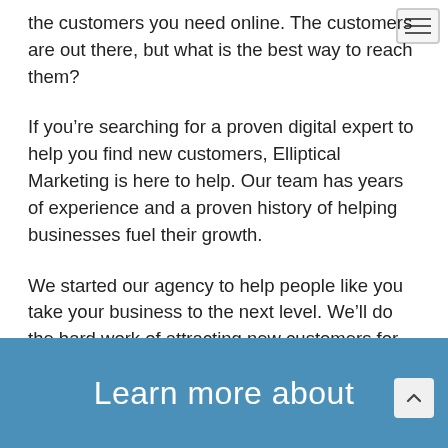the customers you need online. The customers are out there, but what is the best way to reach them?
If you’re searching for a proven digital expert to help you find new customers, Elliptical Marketing is here to help. Our team has years of experience and a proven history of helping businesses fuel their growth.
We started our agency to help people like you take your business to the next level. We’ll do the hard work of attracting new customers for you. So that you can focus on making your business extraordinary.
Learn more about